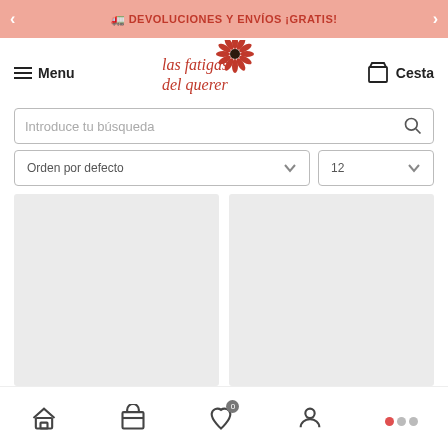DEVOLUCIONES Y ENVÍOS ¡GRATIS!
[Figure (logo): Las Fatigas del Querer logo with decorative flower]
Menu
Cesta
Introduce tu búsqueda
Orden por defecto
12
[Figure (other): Two empty gray product card placeholders in a 2-column grid]
Home | Shop | Favorites (0) | Account | More